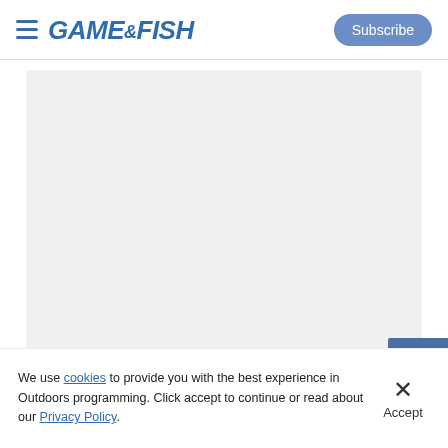GAME&FISH — Subscribe
[Figure (other): Large empty light gray image placeholder area]
[Figure (other): SPEER advertisement banner with text 'FRIIVEN']
We use cookies to provide you with the best experience in Outdoors programming. Click accept to continue or read about our Privacy Policy.